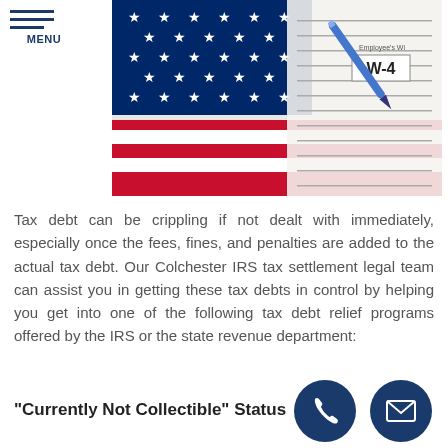MENU
[Figure (photo): American flag with stars and red stripes overlaid with IRS W-4 tax form and a blue pen]
Tax debt can be crippling if not dealt with immediately, especially once the fees, fines, and penalties are added to the actual tax debt. Our Colchester IRS tax settlement legal team can assist you in getting these tax debts in control by helping you get into one of the following tax debt relief programs offered by the IRS or the state revenue department:
"Currently Not Collectible" Status